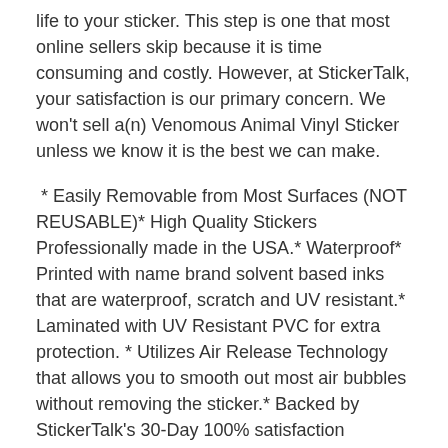life to your sticker. This step is one that most online sellers skip because it is time consuming and costly. However, at StickerTalk, your satisfaction is our primary concern. We won't sell a(n) Venomous Animal Vinyl Sticker unless we know it is the best we can make.
* Easily Removable from Most Surfaces (NOT REUSABLE)* High Quality Stickers Professionally made in the USA.* Waterproof* Printed with name brand solvent based inks that are waterproof, scratch and UV resistant.* Laminated with UV Resistant PVC for extra protection. * Utilizes Air Release Technology that allows you to smooth out most air bubbles without removing the sticker.* Backed by StickerTalk's 30-Day 100% satisfaction guarantee.  Shipping
Free shipping: All products shipped within the US are shipped with United States Postal Service with tracking at no additional charge